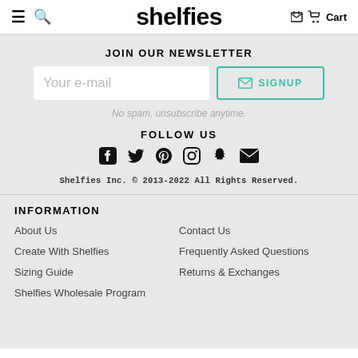shelfies   Cart
JOIN OUR NEWSLETTER
[Figure (other): Email input field with placeholder 'Your e-mail' and a SIGNUP button with envelope icon, teal border]
No spam, unsubscribe anytime.
FOLLOW US
[Figure (other): Row of social media icons: Facebook, Twitter, Pinterest, Instagram, Snapchat, Email]
Shelfies Inc. © 2013-2022 All Rights Reserved.
INFORMATION
About Us
Contact Us
Create With Shelfies
Frequently Asked Questions
Sizing Guide
Returns & Exchanges
Shelfies Wholesale Program